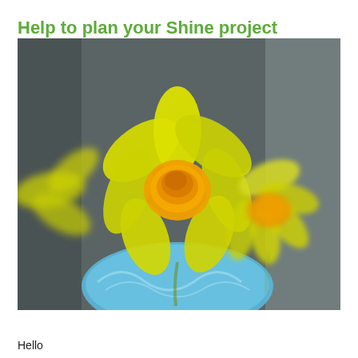Help to plan your Shine project
[Figure (photo): Close-up photograph of yellow daffodil flowers in a blue decorative vase against a blurred grey background.]
Hello